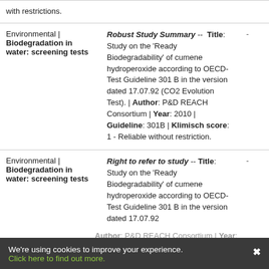| Category | Study Info | Score |
| --- | --- | --- |
| Environmental | Biodegradation in water: screening tests | Robust Study Summary -- Title: Study on the 'Ready Biodegradability' of cumene hydroperoxide according to OECD-Test Guideline 301 B in the version dated 17.07.92 (CO2 Evolution Test). | Author: P&D REACH Consortium | Year: 2010 | Guideline: 301B | Klimisch score: 1 - Reliable without restriction. | - |
| Environmental | Biodegradation in water: screening tests | Right to refer to study -- Title: Study on the 'Ready Biodegradability' of cumene hydroperoxide according to OECD-Test Guideline 301 B in the version dated 17.07.92 ... Author: P&D REACH Consortium | Year: 2010 | | - |
We're using cookies to improve your experience. Click here to find out more.